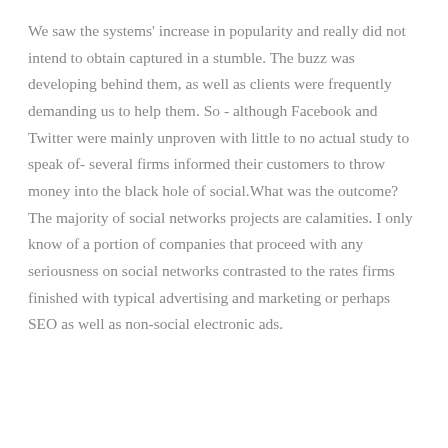We saw the systems' increase in popularity and really did not intend to obtain captured in a stumble. The buzz was developing behind them, as well as clients were frequently demanding us to help them. So - although Facebook and Twitter were mainly unproven with little to no actual study to speak of- several firms informed their customers to throw money into the black hole of social.What was the outcome? The majority of social networks projects are calamities. I only know of a portion of companies that proceed with any seriousness on social networks contrasted to the rates firms finished with typical advertising and marketing or perhaps SEO as well as non-social electronic ads.